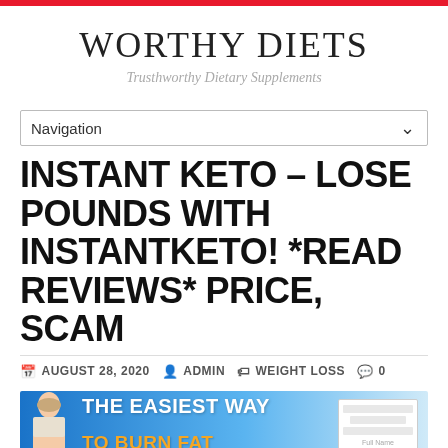WORTHY DIETS — Trusthworthy Dietary Supplements
INSTANT KETO – LOSE POUNDS WITH INSTANTKETO! *READ REVIEWS* PRICE, SCAM
AUGUST 28, 2020   ADMIN   WEIGHT LOSS   0
[Figure (screenshot): Preview image banner for Instant Keto article showing 'THE EASIEST WAY TO BURN FAT' text with a person and a form]